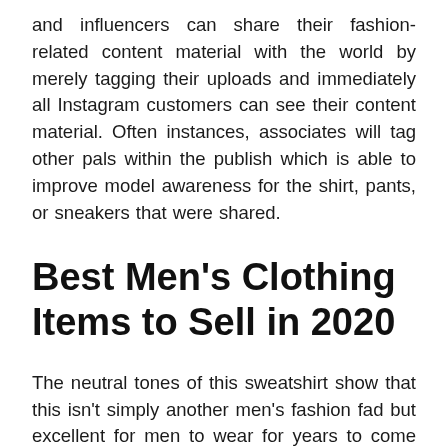and influencers can share their fashion-related content material with the world by merely tagging their uploads and immediately all Instagram customers can see their content material. Often instances, associates will tag other pals within the publish which is able to improve model awareness for the shirt, pants, or sneakers that were shared.
Best Men's Clothing Items to Sell in 2020
The neutral tones of this sweatshirt show that this isn't simply another men's fashion fad but excellent for men to wear for years to come back as well. It has had over 1,000 orders within the last six months, proving that it is a timeless …